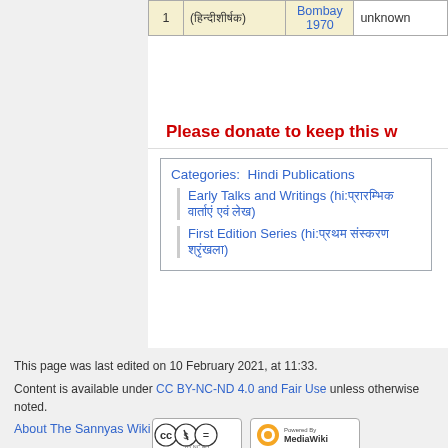| # | Title | Year | City | Notes |
| --- | --- | --- | --- | --- |
| 1 | (हिन्दीशीर्षक) | Bombay
1970 | unknown |
Please donate to keep this w
Categories:  Hindi Publications
| Early Talks and Writings (hi:प्रारम्भिक वार्ताएं एवं लेख)
| First Edition Series (hi:प्रथम संस्करण श्रृंखला)
This page was last edited on 10 February 2021, at 11:33.
Content is available under CC BY-NC-ND 4.0 and Fair Use unless otherwise noted.
About The Sannyas Wiki
[Figure (logo): CC BY-NC-ND license badge]
[Figure (logo): Powered by MediaWiki badge]